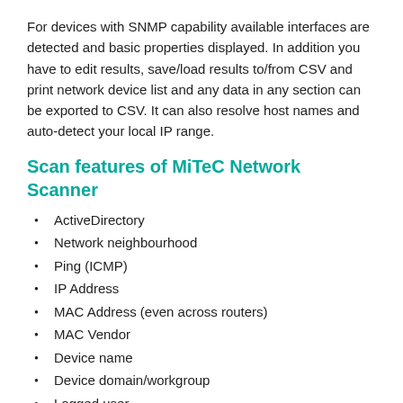For devices with SNMP capability available interfaces are detected and basic properties displayed. In addition you have to edit results, save/load results to/from CSV and print network device list and any data in any section can be exported to CSV. It can also resolve host names and auto-detect your local IP range.
Scan features of MiTeC Network Scanner
ActiveDirectory
Network neighbourhood
Ping (ICMP)
IP Address
MAC Address (even across routers)
MAC Vendor
Device name
Device domain/workgroup
Logged user
Operating system
BIOS, Model and CPU
System time and Up time
Device description
Type flags (SQL server, Domain controller etc.)